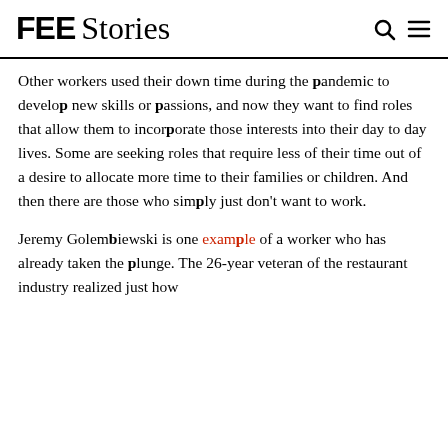FEE Stories
Other workers used their down time during the pandemic to develop new skills or passions, and now they want to find roles that allow them to incorporate those interests into their day to day lives. Some are seeking roles that require less of their time out of a desire to allocate more time to their families or children. And then there are those who simply just don't want to work.

Jeremy Golembiewski is one example of a worker who has already taken the plunge. The 26-year veteran of the restaurant industry realized just how